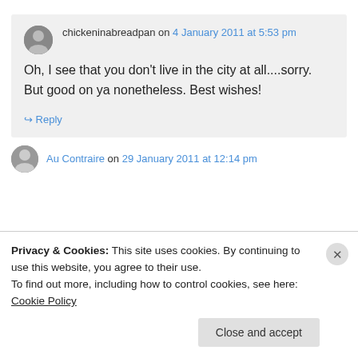chickeninabreadpan on 4 January 2011 at 5:53 pm
Oh, I see that you don't live in the city at all....sorry. But good on ya nonetheless. Best wishes!
↳ Reply
Au Contraire on 29 January 2011 at 12:14 pm
Privacy & Cookies: This site uses cookies. By continuing to use this website, you agree to their use.
To find out more, including how to control cookies, see here: Cookie Policy
Close and accept